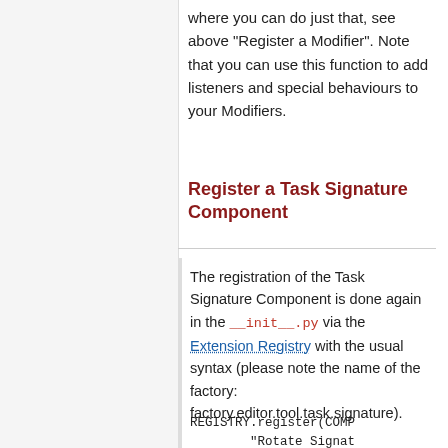where you can do just that, see above "Register a Modifier". Note that you can use this function to add listeners and special behaviours to your Modifiers.
Register a Task Signature Component
The registration of the Task Signature Component is done again in the __init__.py via the Extension Registry with the usual syntax (please note the name of the factory: factory.editor.tool.task.signature).
REGISTRY.register(COMP
        "Rotate Signat
        "herschel.ia.t